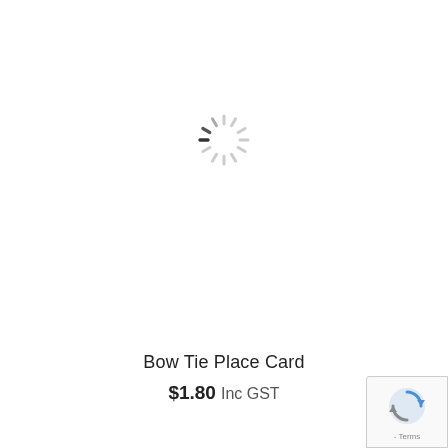[Figure (other): Loading spinner icon — a circular arrangement of short dashes in a sunburst/clock pattern, with some dashes darker (near the 9 o'clock position) and the rest in light gray, indicating a loading animation.]
Bow Tie Place Card
$1.80 Inc GST
[Figure (other): Google reCAPTCHA badge partially visible in bottom-right corner, showing the reCAPTCHA logo and '- Terms' text.]